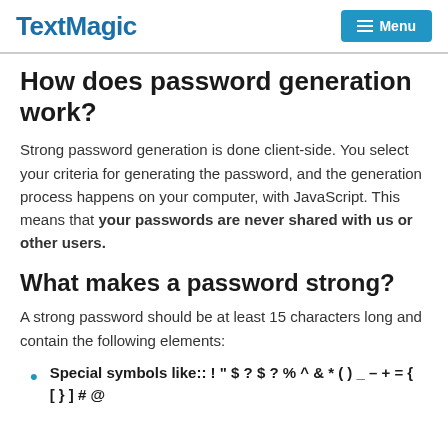TextMagic — Menu
How does password generation work?
Strong password generation is done client-side. You select your criteria for generating the password, and the generation process happens on your computer, with JavaScript. This means that your passwords are never shared with us or other users.
What makes a password strong?
A strong password should be at least 15 characters long and contain the following elements:
Special symbols like:: ! " $ ? $ ? % ^ & * ( ) _ – + = { [ } ] # @